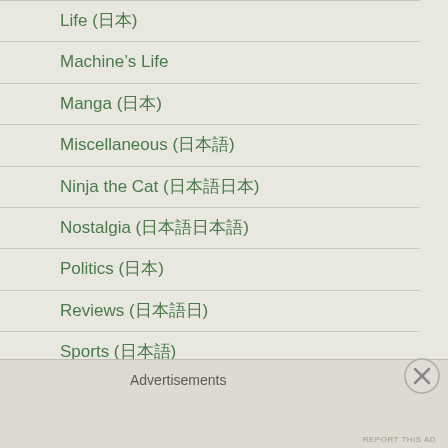Life (日本語)
Machine's Life
Manga (日本語)
Miscellaneous (日本語)
Ninja the Cat (日本語日本)
Nostalgia (日本語日本語日)
Politics (日本)
Reviews (日本語日本)
Sports (日本語日)
Teaching (日本語日)
This Week (日本)
Weight loss
Advertisements
REPORT THIS AD